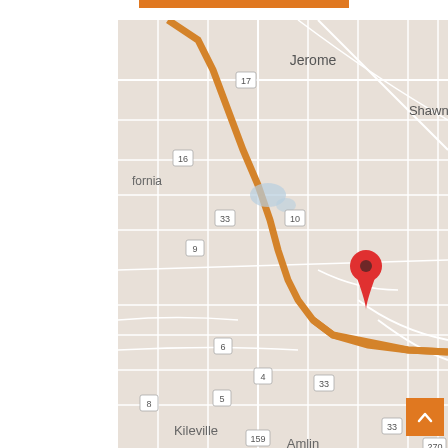[Figure (map): Google Maps screenshot showing a road map of the area around Jerome, Shawnee Hills, Kileville, and Amlin in Ohio. Roads including Route 33, Route 17, Route 16, Route 10, Route 9, Route 6, Route 4, Route 5, Route 8, Route 159, Route 35, and Route 270 are visible. A red location pin marker is placed near the intersection of Route 33 in the eastern part of the map, between Jerome and Shawnee Hills. An orange-highlighted highway (Route 33) runs diagonally through the center of the map. An orange scroll-to-top button with a caret/arrow icon is in the bottom-right corner.]